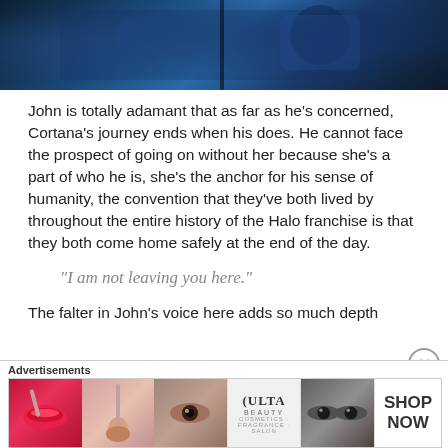[Figure (photo): Dark blue toned image showing armored game characters (Halo), partially cropped at top]
John is totally adamant that as far as he's concerned, Cortana's journey ends when his does. He cannot face the prospect of going on without her because she's a part of who he is, she's the anchor for his sense of humanity, the convention that they've both lived by throughout the entire history of the Halo franchise is that they both come home safely at the end of the day.
“I am not leaving you here.”
The falter in John's voice here adds so much depth
[Figure (photo): Ulta Beauty advertisement banner showing makeup imagery and SHOP NOW call to action]